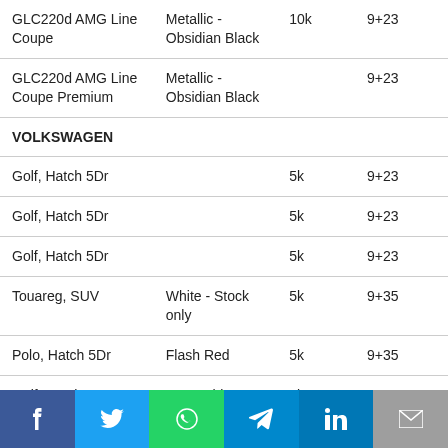| Model | Colour | Deposit | Term |
| --- | --- | --- | --- |
| GLC220d AMG Line Coupe | Metallic - Obsidian Black | 10k | 9+23 |
| GLC220d AMG Line Coupe Premium | Metallic - Obsidian Black |  | 9+23 |
| VOLKSWAGEN |  |  |  |
| Golf, Hatch 5Dr |  | 5k | 9+23 |
| Golf, Hatch 5Dr |  | 5k | 9+23 |
| Golf, Hatch 5Dr |  | 5k | 9+23 |
| Touareg, SUV | White - Stock only | 5k | 9+35 |
| Polo, Hatch 5Dr | Flash Red | 5k | 9+35 |
| Golf, Hatch 5Dr | Pure White or Tornado Red | 5k | 9+23 |